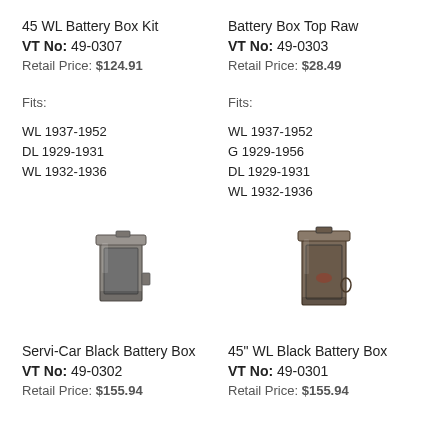45 WL Battery Box Kit
VT No: 49-0307
Retail Price: $124.91
Fits:
WL 1937-1952
DL 1929-1931
WL 1932-1936
Battery Box Top Raw
VT No: 49-0303
Retail Price: $28.49
Fits:
WL 1937-1952
G 1929-1956
DL 1929-1931
WL 1932-1936
[Figure (photo): Photo of Servi-Car Black Battery Box, a small rectangular metal box]
[Figure (photo): Photo of 45 inch WL Black Battery Box, a rectangular metal battery box]
Servi-Car Black Battery Box
VT No: 49-0302
Retail Price: $155.94
45" WL Black Battery Box
VT No: 49-0301
Retail Price: $155.94